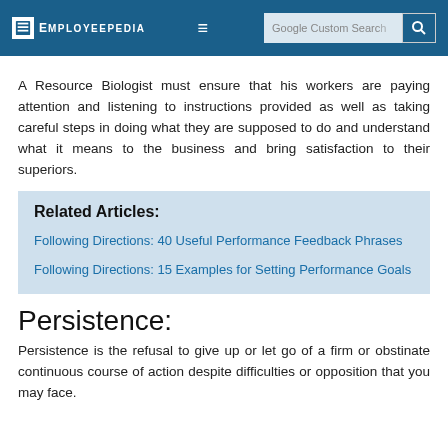Employeepedia — Google Custom Search
A Resource Biologist must ensure that his workers are paying attention and listening to instructions provided as well as taking careful steps in doing what they are supposed to do and understand what it means to the business and bring satisfaction to their superiors.
Related Articles:
Following Directions: 40 Useful Performance Feedback Phrases
Following Directions: 15 Examples for Setting Performance Goals
Persistence:
Persistence is the refusal to give up or let go of a firm or obstinate continuous course of action despite difficulties or opposition that you may face.